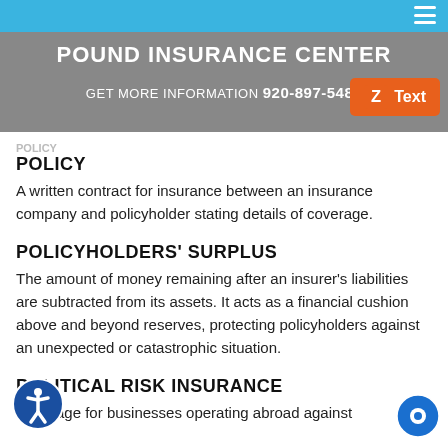POUND INSURANCE CENTER
GET MORE INFORMATION 920-897-5487
POLICY
A written contract for insurance between an insurance company and policyholder stating details of coverage.
POLICYHOLDERS' SURPLUS
The amount of money remaining after an insurer's liabilities are subtracted from its assets. It acts as a financial cushion above and beyond reserves, protecting policyholders against an unexpected or catastrophic situation.
POLITICAL RISK INSURANCE
Coverage for businesses operating abroad against broad political risks and more.